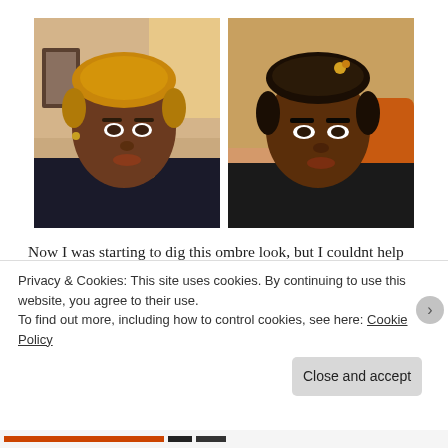[Figure (photo): Two side-by-side selfie photos of a young Black woman. Left photo shows her with short ombre (blonde-tipped) natural hair; right photo shows her with short dark natural hair with small accessories. Both are indoor selfies with warm lighting.]
Now I was starting to dig this ombre look, but I couldnt help but wonder how my hair would look if I went all the way back to dark brown hair. As you can tell I'm all up for
Privacy & Cookies: This site uses cookies. By continuing to use this website, you agree to their use.
To find out more, including how to control cookies, see here: Cookie Policy
Close and accept